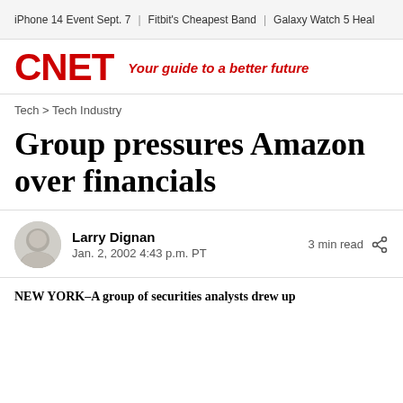iPhone 14 Event Sept. 7 | Fitbit's Cheapest Band | Galaxy Watch 5 Heal
CNET — Your guide to a better future
Tech > Tech Industry
Group pressures Amazon over financials
Larry Dignan
Jan. 2, 2002 4:43 p.m. PT
3 min read
NEW YORK–A group of securities analysts drew up…